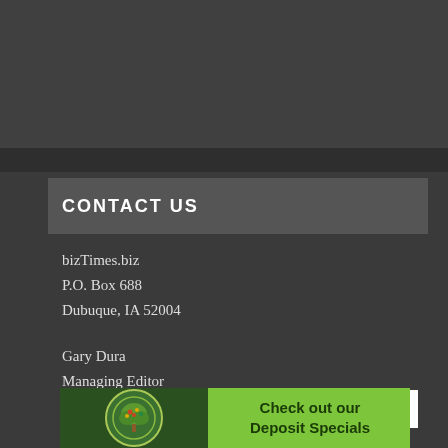CONTACT US
bizTimes.biz
P.O. Box 688
Dubuque, IA 52004
Gary Dura
Managing Editor
close
[Figure (illustration): Advertisement banner with a tree logo and green background reading 'Check out our Deposit Specials']